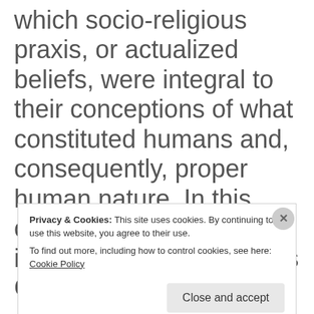which socio-religious praxis, or actualized beliefs, were integral to their conceptions of what constituted humans and, consequently, proper human nature. In this case, pure human nature is totally oriented towards God.
Privacy & Cookies: This site uses cookies. By continuing to use this website, you agree to their use.
To find out more, including how to control cookies, see here: Cookie Policy
Close and accept